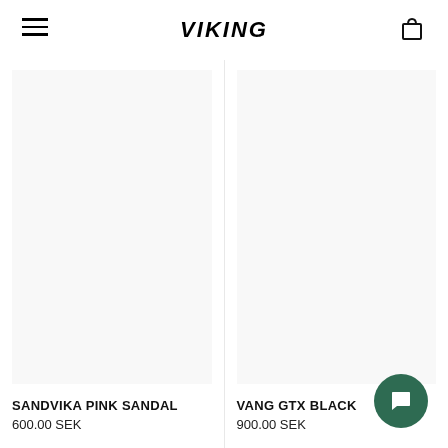VIKING
[Figure (screenshot): Product image placeholder for Sandvika Pink Sandal (white/empty)]
SANDVIKA PINK SANDAL
600.00 SEK
[Figure (screenshot): Product image placeholder for Vang GTX Black (white/empty)]
VANG GTX BLACK
900.00 SEK